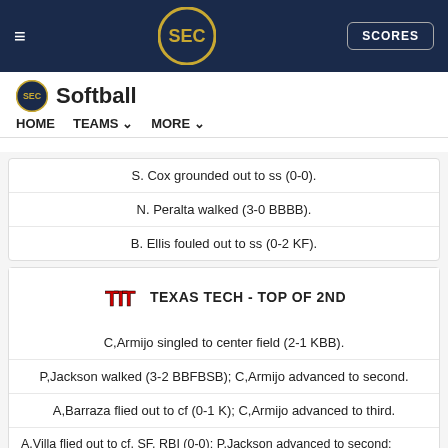SEC Softball — HOME | TEAMS | MORE
S. Cox grounded out to ss (0-0).
N. Peralta walked (3-0 BBBB).
B. Ellis fouled out to ss (0-2 KF).
TEXAS TECH - TOP OF 2ND
C,Armijo singled to center field (2-1 KBB).
P,Jackson walked (3-2 BBFBSB); C,Armijo advanced to second.
A,Barraza flied out to cf (0-1 K); C,Armijo advanced to third.
A,Villa flied out to cf, SF, RBI (0-0); P,Jackson advanced to second; C,Armij
R,Ehlen struck out swinging (0-2 KFS).